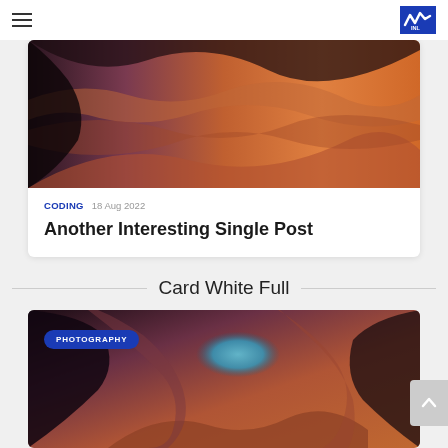Navigation bar with hamburger menu and logo
[Figure (photo): Antelope Canyon sandstone swirling rock formations in orange and purple hues]
CODING   18 Aug 2022
Another Interesting Single Post
Card White Full
[Figure (photo): Antelope Canyon with blue sky visible through the opening, PHOTOGRAPHY tag overlay]